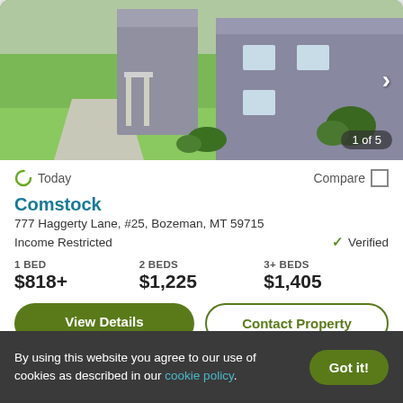[Figure (photo): Exterior photo of Comstock apartment building showing gray siding, green lawn, concrete walkway, and landscaping. Shows '1 of 5' counter in bottom right.]
Today
Compare
Comstock
777 Haggerty Lane, #25, Bozeman, MT 59715
Income Restricted
Verified
1 BED
$818+
2 BEDS
$1,225
3+ BEDS
$1,405
View Details
Contact Property
By using this website you agree to our use of cookies as described in our cookie policy.
Got it!